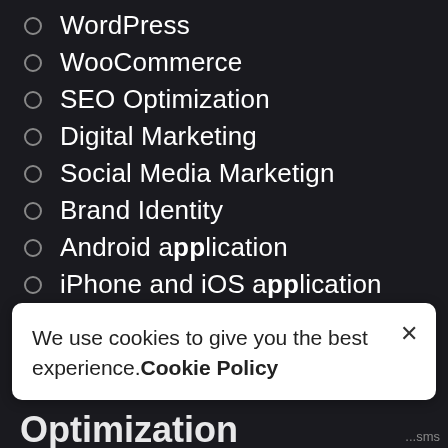WordPress
WooCommerce
SEO Optimization
Digital Marketing
Social Media Marketign
Brand Identity
Android application
iPhone and iOS application
Outsourcing
Recent News
We use cookies to give you the best experience.Cookie Policy
Optimization